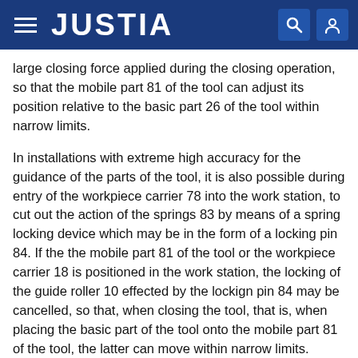JUSTIA
large closing force applied during the closing operation, so that the mobile part 81 of the tool can adjust its position relative to the basic part 26 of the tool within narrow limits.
In installations with extreme high accuracy for the guidance of the parts of the tool, it is also possible during entry of the workpiece carrier 78 into the work station, to cut out the action of the springs 83 by means of a spring locking device which may be in the form of a locking pin 84. If the the mobile part 81 of the tool or the workpiece carrier 18 is positioned in the work station, the locking of the guide roller 10 effected by the lockign pin 84 may be cancelled, so that, when closing the tool, that is, when placing the basic part of the tool onto the mobile part 81 of the tool, the latter can move within narrow limits.